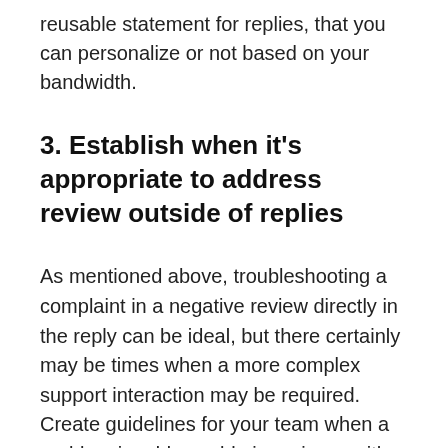reusable statement for replies, that you can personalize or not based on your bandwidth.
3. Establish when it's appropriate to address review outside of replies
As mentioned above, troubleshooting a complaint in a negative review directly in the reply can be ideal, but there certainly may be times when a more complex support interaction may be required. Create guidelines for your team when a problem is addressable in reviews, with a link to FAQs or online support